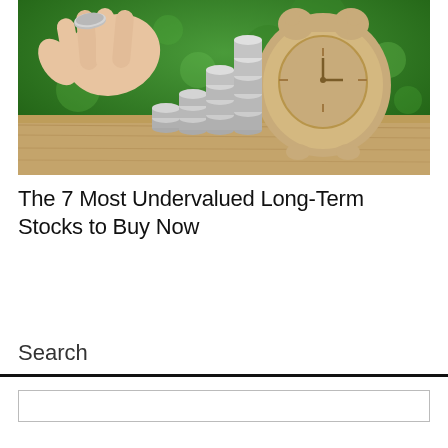[Figure (photo): A hand placing a coin on top of stacked piles of coins arranged in ascending order, with a wooden alarm clock figure in the background on a wooden surface with green bokeh background.]
The 7 Most Undervalued Long-Term Stocks to Buy Now
Search